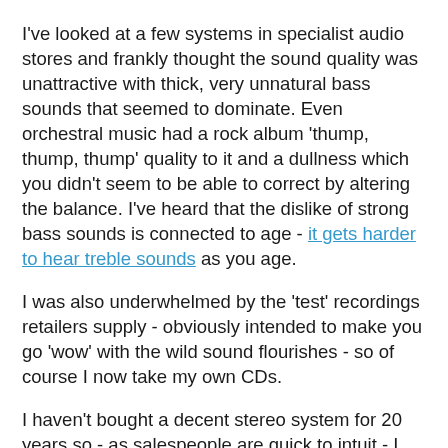I've looked at a few systems in specialist audio stores and frankly thought the sound quality was unattractive with thick, very unnatural bass sounds that seemed to dominate. Even orchestral music had a rock album 'thump, thump, thump' quality to it and a dullness which you didn't seem to be able to correct by altering the balance. I've heard that the dislike of strong bass sounds is connected to age - it gets harder to hear treble sounds as you age.
I was also underwhelmed by the 'test' recordings retailers supply - obviously intended to make you go 'wow' with the wild sound flourishes - so of course I now take my own CDs.
I haven't bought a decent stereo system for 20 years so - as salespeople are quick to intuit - I am not knowledgeable. I'd be interested in ideas from readers - not retailers.
Is my budget too low - surely not in an era of cheap Chinese imports? Who are good retailers in Melbourne? Are any of the music magazines or online sources of information reliable or do they simply promote commercial interests?